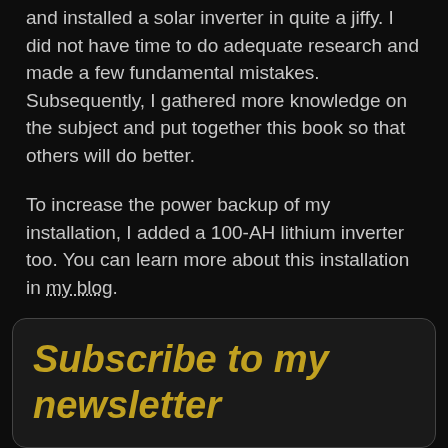and installed a solar inverter in quite a jiffy. I did not have time to do adequate research and made a few fundamental mistakes. Subsequently, I gathered more knowledge on the subject and put together this book so that others will do better.
To increase the power backup of my installation, I added a 100-AH lithium inverter too. You can learn more about this installation in my blog.
Subscribe to my newsletter